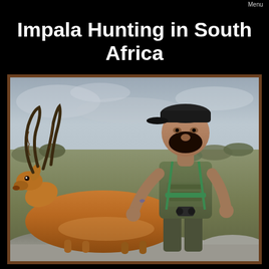Nick Bowker Hunting    Menu
Impala Hunting in South Africa
[Figure (photo): A hunter wearing a green Mossy Oak t-shirt and black cap kneels behind a harvested impala with large curved horns, resting on rocks in an African savanna landscape with cloudy sky and low scrubby vegetation in the background.]